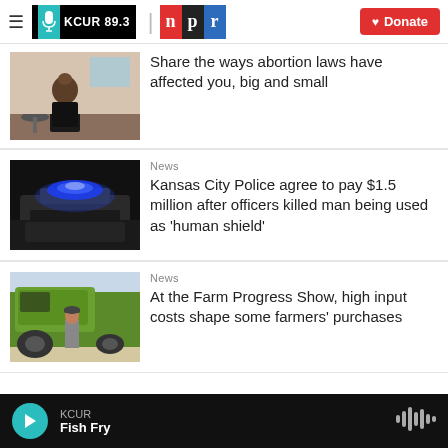KCUR 89.3 | NPR | Donate
[Figure (photo): Person seen from behind sitting at a desk in a medical/office room]
Share the ways abortion laws have affected you, big and small
[Figure (photo): Police car with blue flashing lights on top at night]
News
Kansas City Police agree to pay $1.5 million after officers killed man being used as 'human shield'
[Figure (photo): Farmer standing in front of large green farm machinery at an outdoor show]
News
At the Farm Progress Show, high input costs shape some farmers' purchases
KCUR Fish Fry